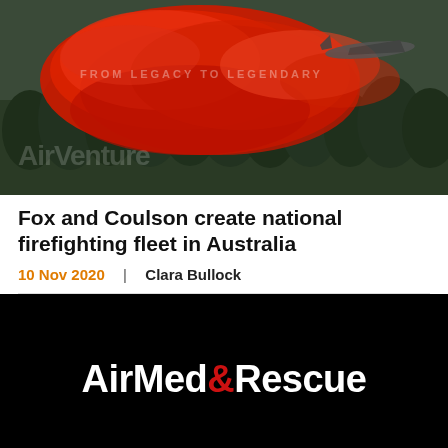[Figure (photo): Aerial firefighting aircraft dropping red fire retardant over forested terrain. Large red cloud of retardant visible. Watermark text reads 'FROM LEGACY TO LEGENDARY' and 'AirVenture' visible in image.]
Fox and Coulson create national firefighting fleet in Australia
10 Nov 2020  |  Clara Bullock
[Figure (logo): AirMed&Rescue logo in white text on black background, with ampersand in red.]